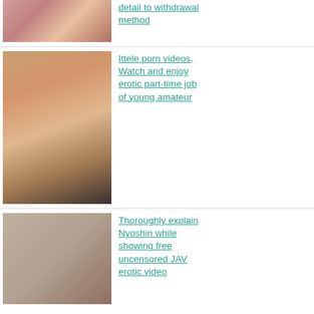[Figure (photo): Thumbnail photo top row]
detail to withdrawal method
[Figure (photo): Thumbnail photo middle row - young woman with auburn hair]
Ittele porn videos, Watch and enjoy erotic part-time job of young amateur
[Figure (photo): Thumbnail photo bottom row - placeholder]
Thoroughly explain Nyoshin while showing free uncensored JAV erotic video